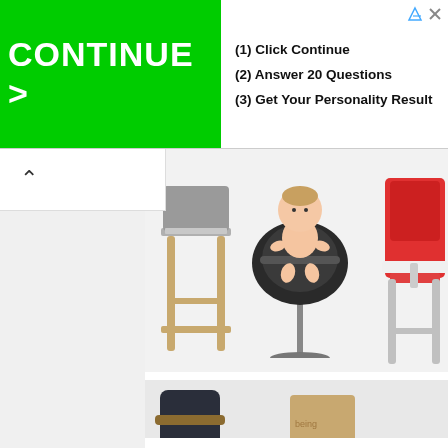[Figure (screenshot): Advertisement banner with green CONTINUE > button on left and three numbered steps on right: (1) Click Continue, (2) Answer 20 Questions, (3) Get Your Personality Result]
[Figure (photo): Photo collage of three baby high chairs: gray modern chair, baby sitting in black round seat, red high chair with tray]
How To Ensure Your Baby Is Safe On The High Chair
[Figure (photo): Photo of a dark navy modern high chair with wooden legs next to a tan paper bag with text 'being']
Should You Buy A brand...